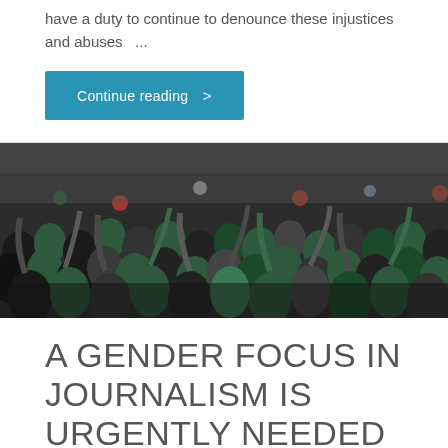have a duty to continue to denounce these injustices and abuses  ...
Continue reading  >
[Figure (photo): Large crowd of people with arms raised, many wearing green bandanas or scarves, appearing to be at a protest or demonstration outdoors.]
A GENDER FOCUS IN JOURNALISM IS URGENTLY NEEDED